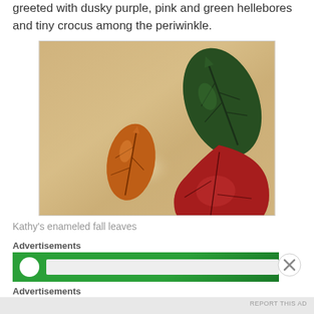greeted with dusky purple, pink and green hellebores and tiny crocus among the periwinkle.
[Figure (photo): Three enameled fall leaves on a wooden table surface: a dark green large leaf in the upper right, an orange-brown smaller leaf in the middle left, and a dark red arrowhead-shaped piece in the lower right.]
Kathy's enameled fall leaves
Advertisements
[Figure (other): Green advertisement banner with white circle icon and light gray text area]
Advertisements